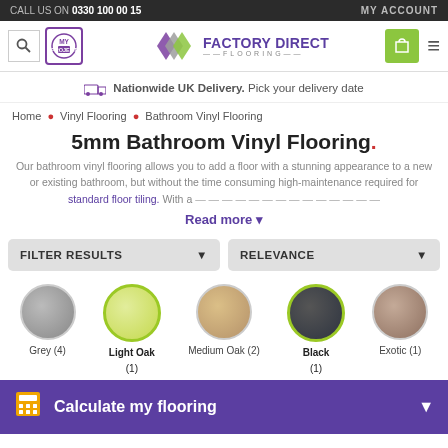CALL US ON 0330 100 00 15 | MY ACCOUNT
[Figure (logo): Factory Direct Flooring logo with geometric diamond shapes in purple and green, accompanied by text FACTORY DIRECT FLOORING]
Nationwide UK Delivery. Pick your delivery date
Home • Vinyl Flooring • Bathroom Vinyl Flooring
5mm Bathroom Vinyl Flooring.
Our bathroom vinyl flooring allows you to add a floor with a stunning appearance to a new or existing bathroom, but without the time consuming high-maintenance required for standard floor tiling. With a
Read more ▼
FILTER RESULTS ▼
RELEVANCE ▼
[Figure (illustration): Five color swatches shown as circles: Grey (4), Light Oak (1), Medium Oak (2), Black (1), Exotic (1)]
Calculate my flooring